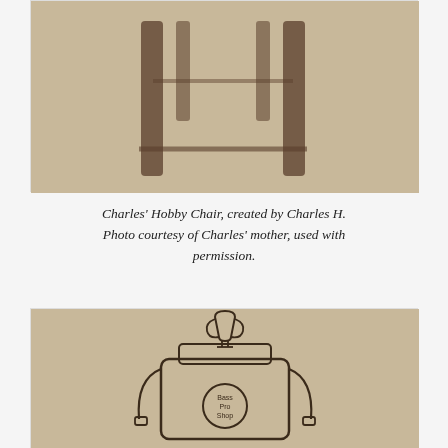[Figure (illustration): Child's pencil drawing of a chair showing four legs on a beige paper background — top portion of the image]
Charles' Hobby Chair, created by Charles H. Photo courtesy of Charles' mother, used with permission.
[Figure (illustration): Child's pencil drawing of a backpack with a trophy on top and a 'Bass Pro Shop' logo circle in the center, with straps on sides, on beige paper background]